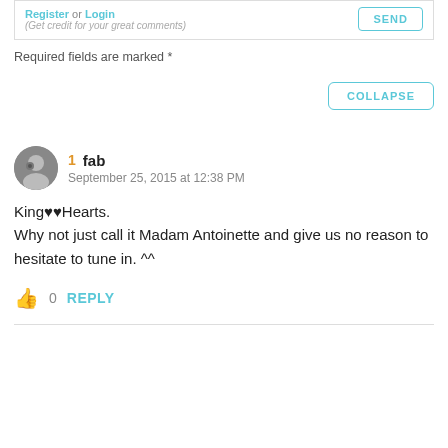Register or Login (Get credit for your great comments) SEND
Required fields are marked *
COLLAPSE
1  fab
September 25, 2015 at 12:38 PM
King♥♥Hearts.
Why not just call it Madam Antoinette and give us no reason to hesitate to tune in. ^^
👍 0  REPLY